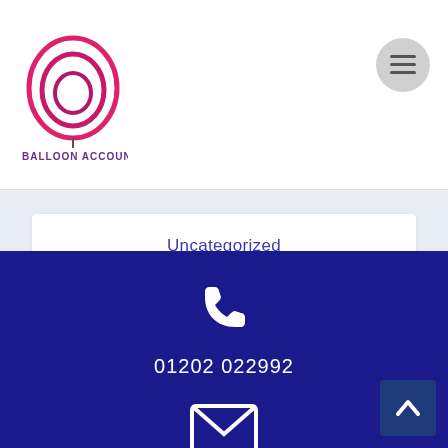[Figure (logo): Balloon Accounting logo with pink/magenta balloon icon and purple text 'BALLOON ACCOUNTING']
Uncategorized
VAT
[Figure (infographic): White phone handset icon on dark blue background, with phone number 01202 022992]
01202 022992
[Figure (infographic): White envelope/email icon on dark blue footer background]